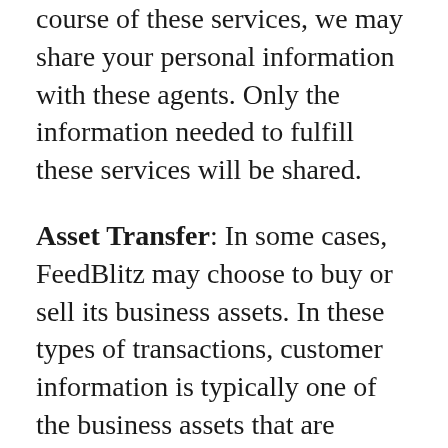course of these services, we may share your personal information with these agents. Only the information needed to fulfill these services will be shared.
Asset Transfer: In some cases, FeedBlitz may choose to buy or sell its business assets. In these types of transactions, customer information is typically one of the business assets that are transferred. Moreover, if FeedBlitz, or substantially all of its assets are acquired, or in the unlikely event